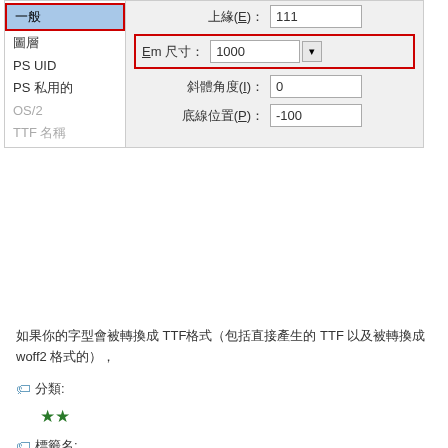[Figure (screenshot): A dialog box screenshot showing font settings. Left panel has menu items: 一般 (selected, highlighted in blue with red border), 圖層, PS UID, PS 私用的, OS/2 (grayed), TTF 名稱 (grayed). Right panel shows form fields: top field (partially visible), Em 尺寸 with red border showing value 1000 and a dropdown arrow, 斜體角度(I) showing value 0, 底線位置(P) showing value -100.]
如果你的字型會被轉換成 TTF格式（包括直接產生的 TTF 以及被轉換成 woff2 格式的），
🏷 分類:
★★
🏷 標籤名:
中文
🏷 應用程式:
FontForge | 中文 | OTF | TTF | WOFF | WOFF2
相關文章